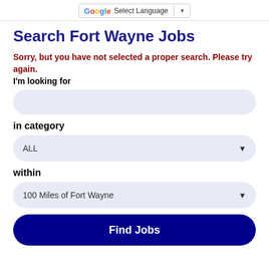Select Language
Search Fort Wayne Jobs
Sorry, but you have not selected a proper search. Please try again.
I'm looking for
in category
ALL
within
100 Miles of Fort Wayne
Find Jobs